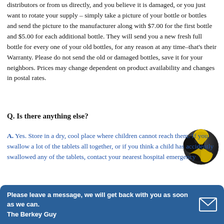distributors or from us directly, and you believe it is damaged, or you just want to rotate your supply – simply take a picture of your bottle or bottles and send the picture to the manufacturer along with $7.00 for the first bottle and $5.00 for each additional bottle. They will send you a new fresh full bottle for every one of your old bottles, for any reason at any time–that's their Warranty. Please do not send the old or damaged bottles, save it for your neighbors. Prices may change dependent on product availability and changes in postal rates.
Q. Is there anything else?
A. Yes. Store in a dry, cool place where children cannot reach them. If you swallow a lot of the tablets all together, or if you think a child has accidently swallowed any of the tablets, contact your nearest hospital emergency
[Figure (illustration): Radiation warning symbol — yellow and black trefoil on a dark spherical background]
Please leave a message, we will get back with you as soon as we can. The Berkey Guy